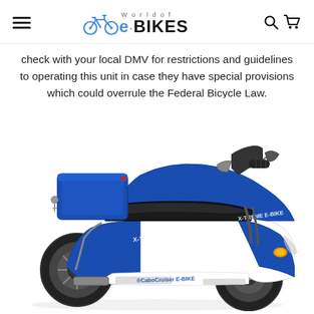World of e·BIKES [hamburger menu, search icon, cart icon]
check with your local DMV for restrictions and guidelines to operating this unit in case they have special provisions which could overrule the Federal Bicycle Law.
[Figure (photo): Blue and white electric scooter/moped (X-TREME Cabo Cruiser E-Bike) on white background, shown from left-rear angle, with rear storage box, mirrors, and front wheel visible.]